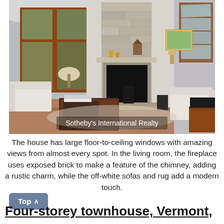[Figure (photo): Interior photo of a living room with large floor-to-ceiling windows with wood trim, an exposed stone/brick fireplace as the central feature, off-white sofas and armchair, a dark wood coffee table, and skylights on the right. A watermark reads 'Sotheby's International Realty'.]
The house has large floor-to-ceiling windows with amazing views from almost every spot. In the living room, the fireplace uses exposed brick to make a feature of the chimney, adding a rustic charm, while the off-white sofas and rug add a modern touch.
Top
Four-storey townhouse, Vermont,